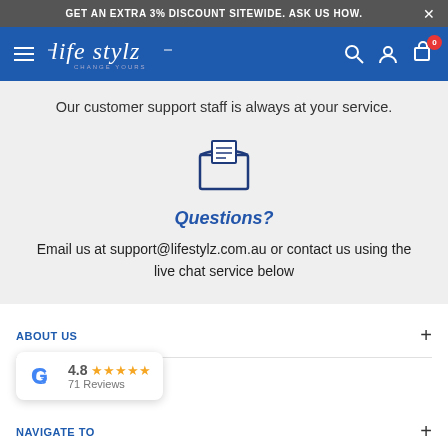GET AN EXTRA 3% DISCOUNT SITEWIDE. ASK US HOW.
[Figure (screenshot): Life Stylz website navigation bar with hamburger menu, logo, search, account, and cart icons on blue background]
Our customer support staff is always at your service.
[Figure (illustration): Open envelope email icon in navy blue outline style]
Questions?
Email us at support@lifestylz.com.au or contact us using the live chat service below
ABOUT US
[Figure (other): Google review badge showing 4.8 rating with 5 stars and 71 Reviews]
NAVIGATE TO